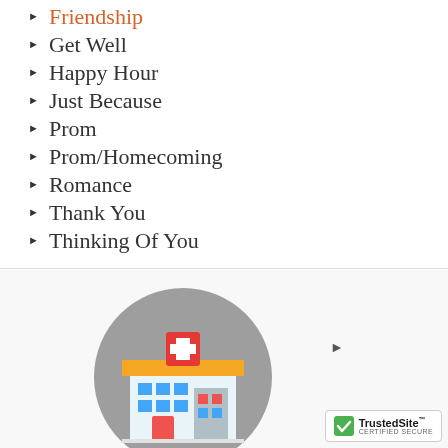Friendship
Get Well
Happy Hour
Just Because
Prom
Prom/Homecoming
Romance
Thank You
Thinking Of You
[Figure (illustration): A flat-style illustration of a hospital building with a red cross on top, blue windows, and colorful facade, displayed inside a gray circle.]
[Figure (logo): TrustedSite certified secure badge with green checkmark icon.]